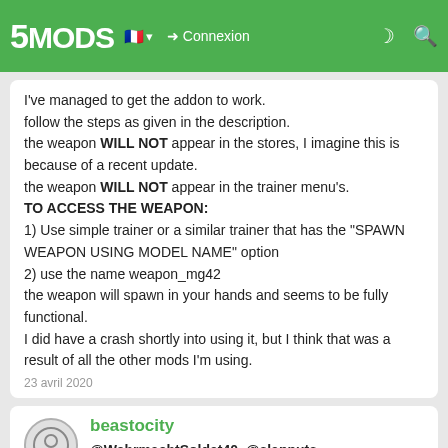5MODS — Connexion
I've managed to get the addon to work.
follow the steps as given in the description.
the weapon WILL NOT appear in the stores, I imagine this is because of a recent update.
the weapon WILL NOT appear in the trainer menu's.
TO ACCESS THE WEAPON:
1) Use simple trainer or a similar trainer that has the "SPAWN WEAPON USING MODEL NAME" option
2) use the name weapon_mg42
the weapon will spawn in your hands and seems to be fully functional.
I did have a crash shortly into using it, but I think that was a result of all the other mods I'm using.
23 avril 2020
beastocity
@WehrmachtSoldat40, @slapnuts, @wakelessrex, use simple trainer, spawn weapon using model name, weapon_mg42
23 avril 2020